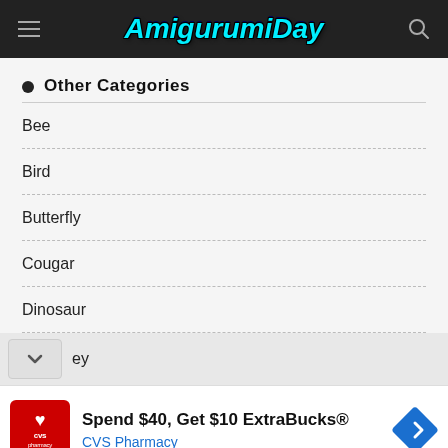AmigurumiDay
Other Categories
Bee
Bird
Butterfly
Cougar
Dinosaur
ey
Spend $40, Get $10 ExtraBucks® CVS Pharmacy